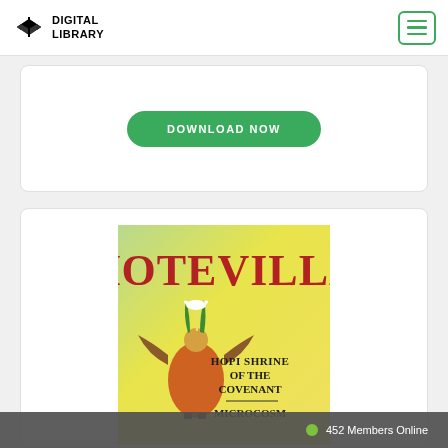DIGITAL LIBRARY
DOWNLOAD NOW
[Figure (illustration): Book cover for Hotevilla: Hopi Shrine of the Covenant / Microcosm. Yellow/green background with text 'HOTEVILLA' in large red serif letters and a Hopi Kachina dancer figure. Subtitle reads 'HOPI SHRINE OF THE COVENANT / MICROCOSM'.]
452 Members Online